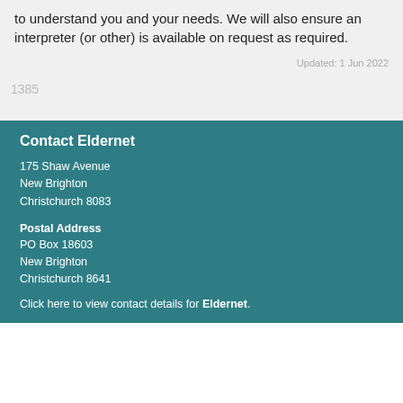to understand you and your needs. We will also ensure an interpreter (or other) is available on request as required.
Updated: 1 Jun 2022
1385
Contact Eldernet
175 Shaw Avenue
New Brighton
Christchurch 8083
Postal Address
PO Box 18603
New Brighton
Christchurch 8641
Click here to view contact details for Eldernet.